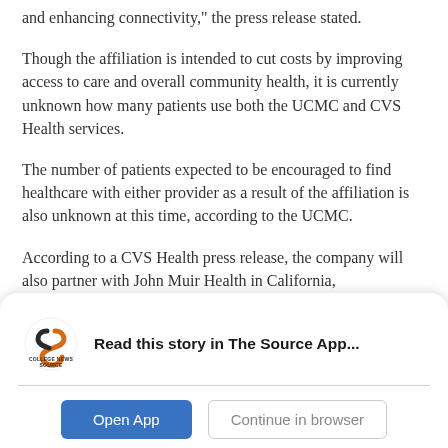and enhancing connectivity," the press release stated.
Though the affiliation is intended to cut costs by improving access to care and overall community health, it is currently unknown how many patients use both the UCMC and CVS Health services.
The number of patients expected to be encouraged to find healthcare with either provider as a result of the affiliation is also unknown at this time, according to the UCMC.
According to a CVS Health press release, the company will also partner with John Muir Health in California,
[Figure (logo): College News Source logo — stylized orange and dark letter S shape with text 'COLLEGE NEWS SOURCE' below]
Read this story in The Source App...
Open App | Continue in browser